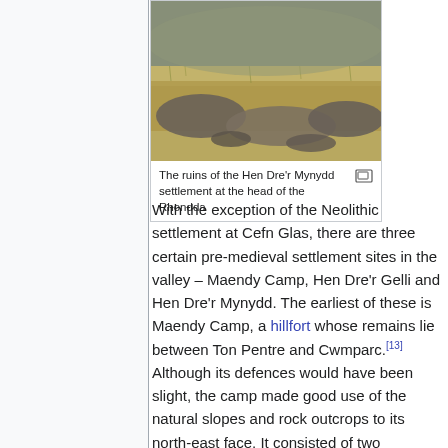[Figure (photo): Photograph of ruins of the Hen Dre'r Mynydd settlement: rocky outcrops among dry grassy moorland at the head of the Rhondda valley]
The ruins of the Hen Dre'r Mynydd settlement at the head of the Rhondda
With the exception of the Neolithic settlement at Cefn Glas, there are three certain pre-medieval settlement sites in the valley – Maendy Camp, Hen Dre'r Gelli and Hen Dre'r Mynydd. The earliest of these is Maendy Camp, a hillfort whose remains lie between Ton Pentre and Cwmparc.[13] Although its defences would have been slight, the camp made good use of the natural slopes and rock outcrops to its north-east face. It consisted of two earthworks: an inner